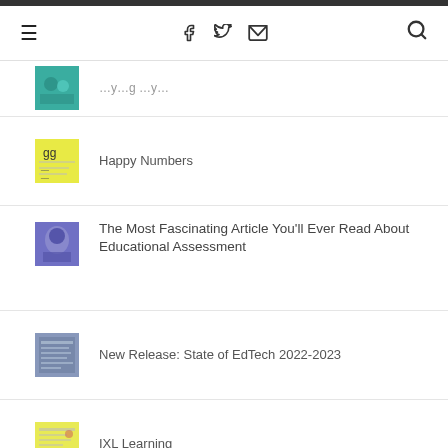Navigation bar with hamburger menu, social icons (Facebook, Twitter, Email), and search icon
Happy Numbers
The Most Fascinating Article You'll Ever Read About Educational Assessment
New Release: State of EdTech 2022-2023
IXL Learning
Happy Numbers